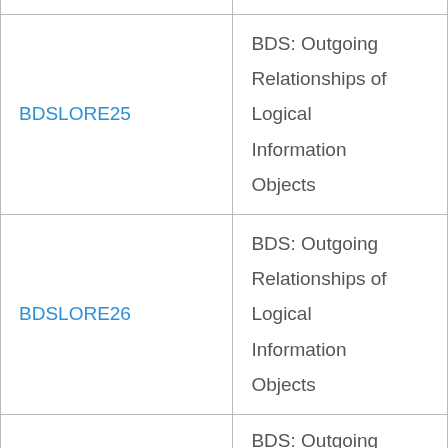| BDSLORE25 | BDS: Outgoing Relationships of Logical Information Objects |
| BDSLORE26 | BDS: Outgoing Relationships of Logical Information Objects |
|  | BDS: Outgoing |